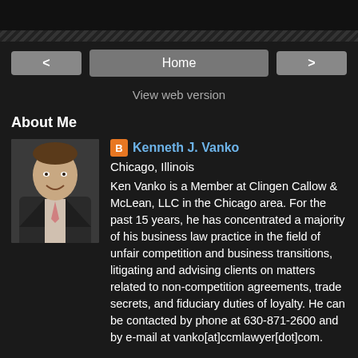Home
View web version
About Me
[Figure (photo): Professional headshot of Kenneth J. Vanko, a man in a suit with a pink tie, smiling]
Kenneth J. Vanko
Chicago, Illinois
Ken Vanko is a Member at Clingen Callow & McLean, LLC in the Chicago area. For the past 15 years, he has concentrated a majority of his business law practice in the field of unfair competition and business transitions, litigating and advising clients on matters related to non-competition agreements, trade secrets, and fiduciary duties of loyalty. He can be contacted by phone at 630-871-2600 and by e-mail at vanko[at]ccmlawyer[dot]com.
View my complete profile
Powered by Blogger.